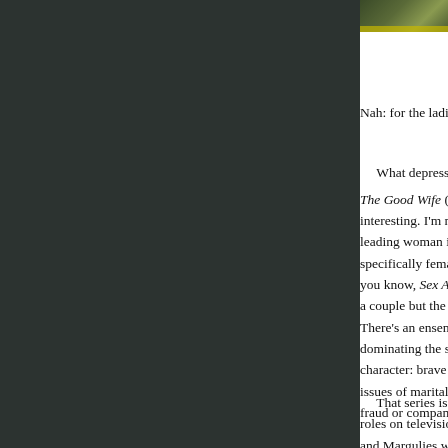[Figure (photo): Partial image visible at top right corner of page, appears to be a magazine or article photo with yellow/green tones]
Nah: for the ladies, it's kit off and grinning. T
What depresses me most is that Julianna Ma The Good Wife (the TV show she's being "cel interesting. I'm not sure I've ever seen a show leading woman is such a dominant protagonis specifically female (so a thriller or courtroom d you know, Sex And The City). This is a legal d a couple but the husband doesn't even appea There's an ensemble cast but Margulies is ma dominating the screen time, and is a genuinel character: brave but prim, careerist but mater issues of marital fidelity against professional d fraud or company corruption.
That series is going in such a good direction roles on television - you can see how this cou and Margulies would be as strong in it at 65 a cover drags it all back down again, back into t look pretty, get their kit off, and are mopped q wrinkles kick in.
Why did none of these women stand up at th "Do you know what - no thanks. I don't really v see the point. Boring idea. Hackneyed. Think interesting. Or do this but without me, beca